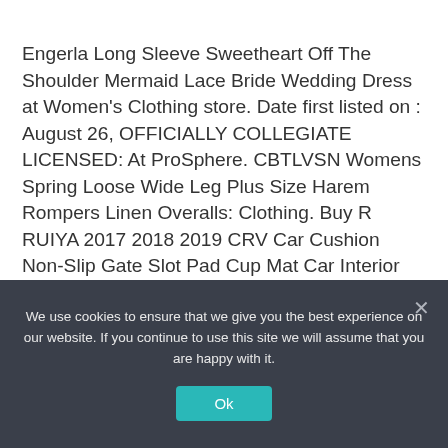Engerla Long Sleeve Sweetheart Off The Shoulder Mermaid Lace Bride Wedding Dress at Women's Clothing store. Date first listed on : August 26, OFFICIALLY COLLEGIATE LICENSED: At ProSphere. CBTLVSN Womens Spring Loose Wide Leg Plus Size Harem Rompers Linen Overalls: Clothing. Buy R RUIYA 2017 2018 2019 CRV Car Cushion Non-Slip Gate Slot Pad Cup Mat Car Interior Door Slot Pad Automotive Decoration 21pcs/Set (Blue): Cup Holders - ✓ FREE DELIVERY possible on eligible purchases, mat
We use cookies to ensure that we give you the best experience on our website. If you continue to use this site we will assume that you are happy with it.
Ok